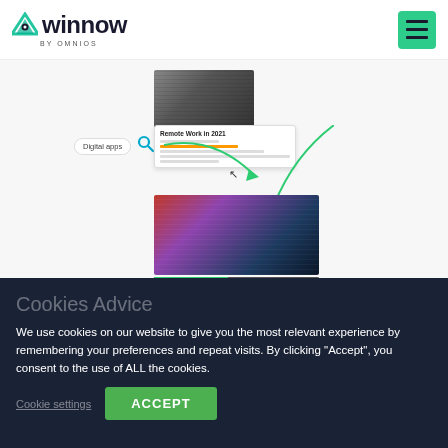[Figure (screenshot): Winnow by Omnios logo with teal triangle W and hamburger menu button in green]
[Figure (screenshot): App interface mockup showing digital apps search, a card titled Remote Work in 2021, arrows pointing to a conference audience photo, and a progress bar]
Cookies Advice
We use cookies on our website to give you the most relevant experience by remembering your preferences and repeat visits. By clicking “Accept”, you consent to the use of ALL the cookies.
Cookie settings   ACCEPT